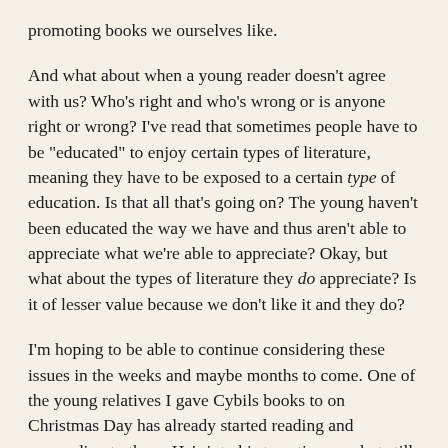promoting books we ourselves like.
And what about when a young reader doesn't agree with us? Who's right and who's wrong or is anyone right or wrong? I've read that sometimes people have to be "educated" to enjoy certain types of literature, meaning they have to be exposed to a certain type of education. Is that all that's going on? The young haven't been educated the way we have and thus aren't able to appreciate what we're able to appreciate? Okay, but what about the types of literature they do appreciate? Is it of lesser value because we don't like it and they do?
I'm hoping to be able to continue considering these issues in the weeks and maybe months to come. One of the young relatives I gave Cybils books to on Christmas Day has already started reading and responding to them. He's into his twenties now but still closer to the YA and child reading experience than I am. And starting next week he's going to be spending his days with fifth graders.
Occasionally I'll be reconsidering Cybil nominees in light of BDT's response to them or maybe even in light of his students' responses to them. This will kill two birds with one stone--it will get some